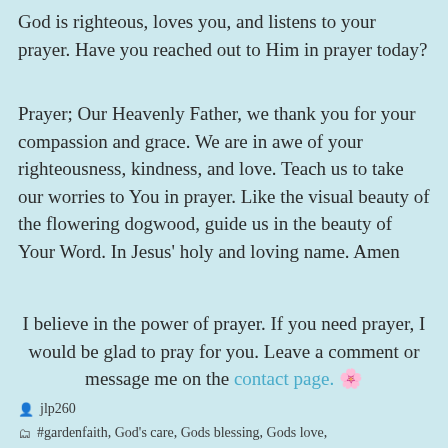God is righteous, loves you, and listens to your prayer. Have you reached out to Him in prayer today?
Prayer; Our Heavenly Father, we thank you for your compassion and grace. We are in awe of your righteousness, kindness, and love. Teach us to take our worries to You in prayer. Like the visual beauty of the flowering dogwood, guide us in the beauty of Your Word. In Jesus' holy and loving name. Amen
I believe in the power of prayer. If you need prayer, I would be glad to pray for you. Leave a comment or message me on the contact page. 🌸
jlp260
#gardenfaith, God's care, Gods blessing, Gods love, trust in God